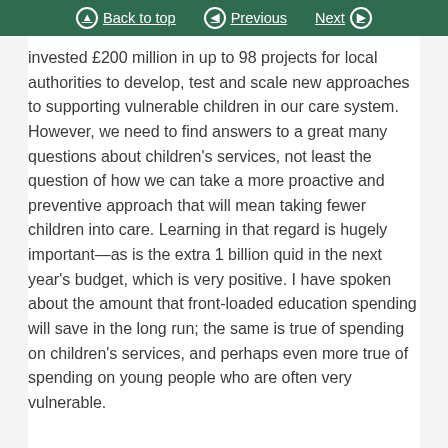Back to top | Previous | Next
invested £200 million in up to 98 projects for local authorities to develop, test and scale new approaches to supporting vulnerable children in our care system. However, we need to find answers to a great many questions about children's services, not least the question of how we can take a more proactive and preventive approach that will mean taking fewer children into care. Learning in that regard is hugely important—as is the extra 1 billion quid in the next year's budget, which is very positive. I have spoken about the amount that front-loaded education spending will save in the long run; the same is true of spending on children's services, and perhaps even more true of spending on young people who are often very vulnerable.